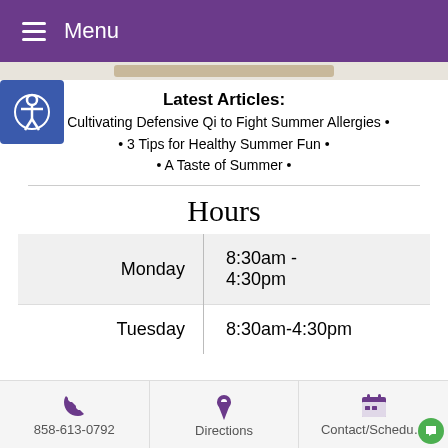Menu
Latest Articles:
Cultivating Defensive Qi to Fight Summer Allergies •
3 Tips for Healthy Summer Fun •
A Taste of Summer •
Hours
| Day | Hours |
| --- | --- |
| Monday | 8:30am -
4:30pm |
| Tuesday | 8:30am-4:30pm |
858-613-0792 | Directions | Contact/Schedule